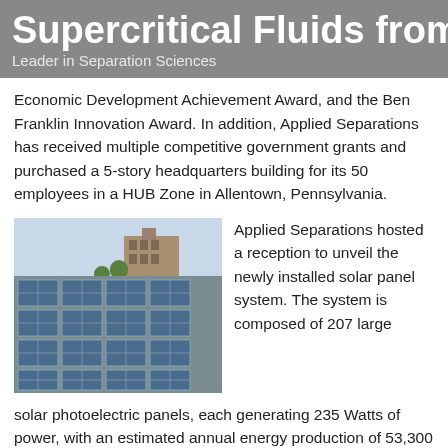Supercritical Fluids from A — Leader in Separation Sciences
Economic Development Achievement Award, and the Ben Franklin Innovation Award. In addition, Applied Separations has received multiple competitive government grants and purchased a 5-story headquarters building for its 50 employees in a HUB Zone in Allentown, Pennsylvania.
[Figure (photo): Aerial view of solar photovoltaic panels on a rooftop with a multi-story brick building visible in the background under a clear sky.]
Applied Separations hosted a reception to unveil the newly installed solar panel system. The system is composed of 207 large solar photoelectric panels, each generating 235 Watts of power, with an estimated annual energy production of 53,300 KWh. This is the largest